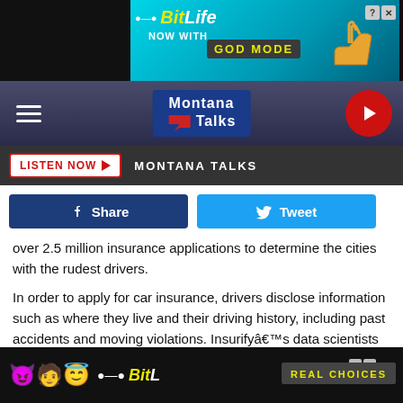[Figure (screenshot): BitLife app advertisement banner - 'NOW WITH GOD MODE' on cyan/blue background with hand pointing graphic]
[Figure (logo): Montana Talks radio station logo and navigation bar with hamburger menu and play button]
[Figure (screenshot): Listen Now button and Montana Talks label on dark bar]
[Figure (screenshot): Facebook Share button (dark blue) and Twitter Tweet button (light blue)]
over 2.5 million insurance applications to determine the cities with the rudest drivers.
In order to apply for car insurance, drivers disclose information such as where they live and their driving history, including past accidents and moving violations. Insurifyâ€™s data scientists classified the following driving violations as the most extreme forms of rude driving: failure to yield violatio... ld to a pedest... a red
[Figure (screenshot): BitLife REAL CHOICES advertisement banner at bottom with emojis]